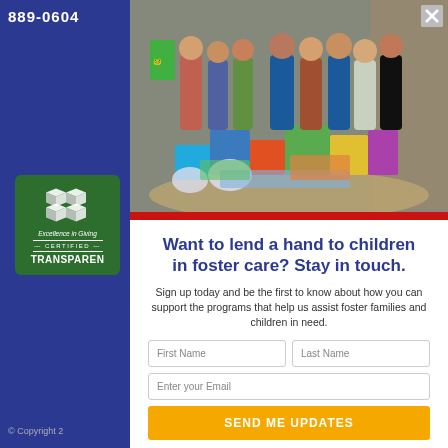889-0604
[Figure (photo): Group of people standing in a warehouse with donated toys, clothes, and supplies for foster children]
[Figure (logo): Excellence in Giving Certified Transparent badge with cube logo on green background]
Want to lend a hand to children in foster care? Stay in touch.
Sign up today and be the first to know about how you can support the programs that help us assist foster families and children in need.
First Name | Last Name | Enter your Email
SEND ME UPDATES
Not Today
© Copyright 2